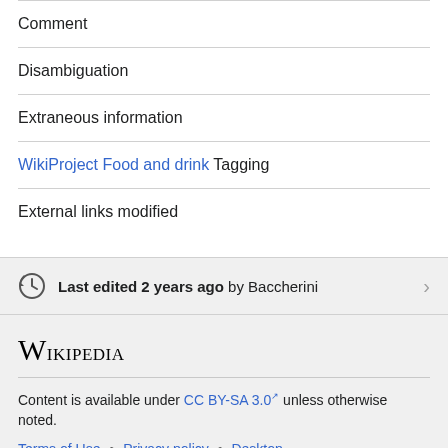Comment
Disambiguation
Extraneous information
WikiProject Food and drink Tagging
External links modified
Last edited 2 years ago by Baccherini
Wikipedia
Content is available under CC BY-SA 3.0 unless otherwise noted.
Terms of Use • Privacy policy • Desktop